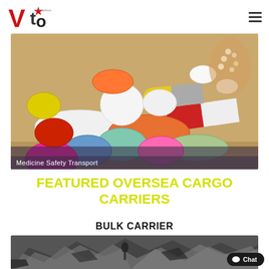[Figure (logo): VTO Interbos logo — red and black stylized letters with star]
[Figure (photo): Colorful assorted medicine pills and capsules spread on a wooden surface — white, red, orange, yellow, green, blue, pink tablets and capsules]
Medicine Safety Transport
FEATURED OVERSEA CARGO CARRIERS
BULK CARRIER
[Figure (photo): Dark gray rocky minerals/ore chunks on a surface, partially visible]
Chat